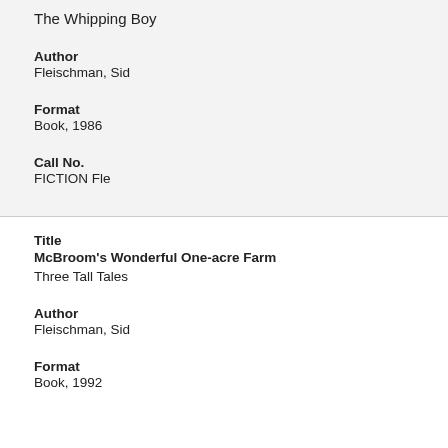The Whipping Boy
Author
Fleischman, Sid
Format
Book, 1986
Call No.
FICTION Fle
Title
McBroom's Wonderful One-acre Farm
Three Tall Tales
Author
Fleischman, Sid
Format
Book, 1992